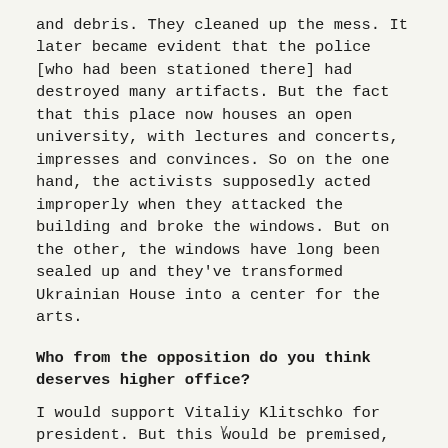and debris. They cleaned up the mess. It later became evident that the police [who had been stationed there] had destroyed many artifacts. But the fact that this place now houses an open university, with lectures and concerts, impresses and convinces. So on the one hand, the activists supposedly acted improperly when they attacked the building and broke the windows. But on the other, the windows have long been sealed up and they've transformed Ukrainian House into a center for the arts.
Who from the opposition do you think deserves higher office?
I would support Vitaliy Klitschko for president. But this would be premised, of course, on there being a weak presidency, meaning that the president's powers would consist primarily of diplomatic functions. The thing is that Klitschko is very well
v